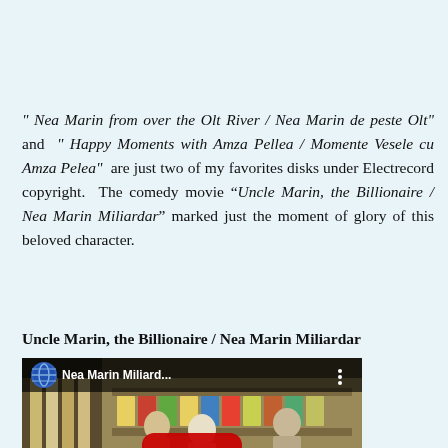" Nea Marin from over the Olt River / Nea Marin de peste Olt" and " Happy Moments with Amza Pellea / Momente Vesele cu Amza Pelea"  are just two of my favorites disks under Electrecord copyright.  The comedy movie “Uncle Marin, the Billionaire / Nea Marin Miliardar” marked just the moment of glory of this beloved character.
Uncle Marin, the Billionaire / Nea Marin Miliardar
[Figure (screenshot): YouTube video thumbnail showing a scene from 'Nea Marin Miliard...' with people at what appears to be a market stall or shop, with a red YouTube play button overlay in the center and the video title in the top bar.]